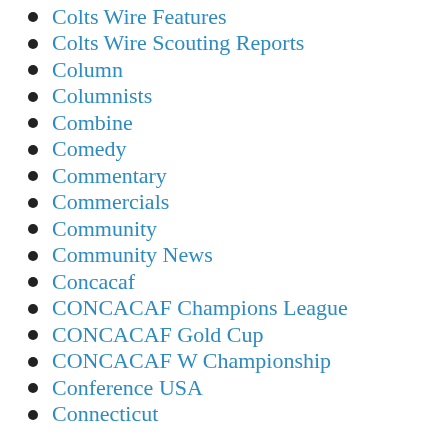Colts Wire Features
Colts Wire Scouting Reports
Column
Columnists
Combine
Comedy
Commentary
Commercials
Community
Community News
Concacaf
CONCACAF Champions League
CONCACAF Gold Cup
CONCACAF W Championship
Conference USA
Connecticut